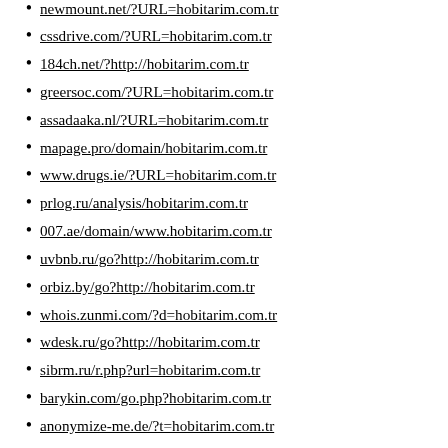newmount.net/?URL=hobitarim.com.tr
cssdrive.com/?URL=hobitarim.com.tr
184ch.net/?http://hobitarim.com.tr
greersoc.com/?URL=hobitarim.com.tr
assadaaka.nl/?URL=hobitarim.com.tr
mapage.pro/domain/hobitarim.com.tr
www.drugs.ie/?URL=hobitarim.com.tr
prlog.ru/analysis/hobitarim.com.tr
007.ae/domain/www.hobitarim.com.tr
uvbnb.ru/go?http://hobitarim.com.tr
orbiz.by/go?http://hobitarim.com.tr
whois.zunmi.com/?d=hobitarim.com.tr
wdesk.ru/go?http://hobitarim.com.tr
sibrm.ru/r.php?url=hobitarim.com.tr
barykin.com/go.php?hobitarim.com.tr
anonymize-me.de/?t=hobitarim.com.tr
prank.su/go?http://hobitarim.com.tr
gyo.tc/?url=http://hobitarim.com.tr
krfan.ru/go?http://hobitarim.com.tr